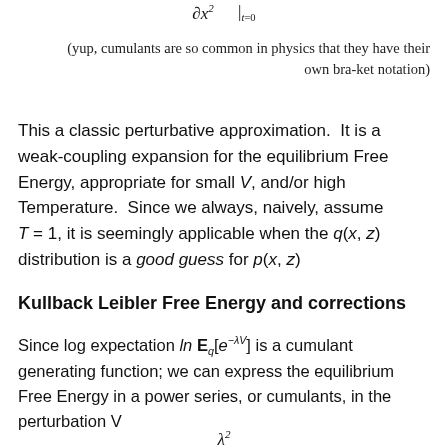(yup, cumulants are so common in physics that they have their own bra-ket notation)
This a classic perturbative approximation. It is a weak-coupling expansion for the equilibrium Free Energy, appropriate for small V, and/or high Temperature. Since we always, naively, assume T = 1, it is seemingly applicable when the q(x, z) distribution is a good guess for p(x, z)
Kullback Leibler Free Energy and corrections
Since log expectation ln E_q[e^{-λV}] is a cumulant generating function; we can express the equilibrium Free Energy in a power series, or cumulants, in the perturbation V